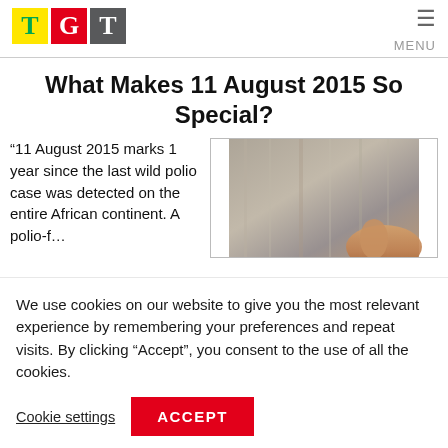TGT — MENU
What Makes 11 August 2015 So Special?
“11 August 2015 marks 1 year since the last wild polio case was detected on the entire African continent. A polio-free…
[Figure (photo): Close-up photo of hands, brownish/grey tones, blurred background]
We use cookies on our website to give you the most relevant experience by remembering your preferences and repeat visits. By clicking “Accept”, you consent to the use of all the cookies.
Cookie settings | ACCEPT